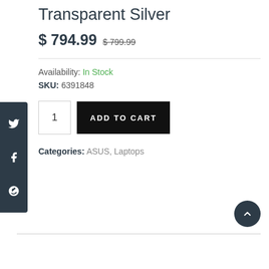Transparent Silver
$ 794.99 $ 799.99
Availability: In Stock
SKU: 6391848
1  ADD TO CART
Categories: ASUS, Laptops